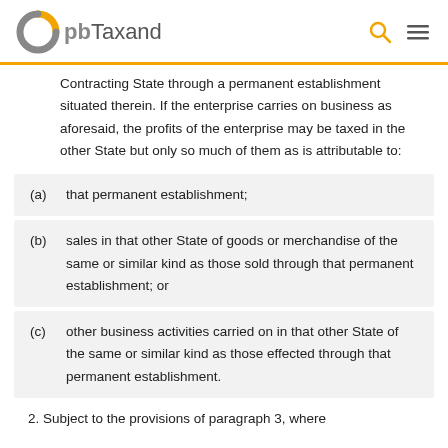pbTaxand
Contracting State through a permanent establishment situated therein. If the enterprise carries on business as aforesaid, the profits of the enterprise may be taxed in the other State but only so much of them as is attributable to:
(a)   that permanent establishment;
(b)   sales in that other State of goods or merchandise of the same or similar kind as those sold through that permanent establishment; or
(c)   other business activities carried on in that other State of the same or similar kind as those effected through that permanent establishment.
2. Subject to the provisions of paragraph 3, where